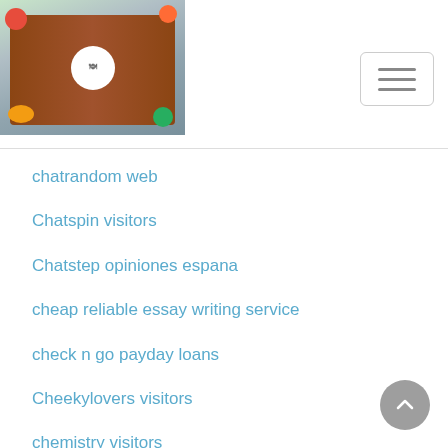[Figure (logo): Website logo with food/cooking theme - wooden board with vegetables and a circular emblem]
[Figure (other): Hamburger menu button (three horizontal lines) in a rounded rectangle border]
chatrandom web
Chatspin visitors
Chatstep opiniones espana
cheap reliable essay writing service
check n go payday loans
Cheekylovers visitors
chemistry visitors
chesapeake eros escort
chinalovecupid kosten
christian connection como funciona
christian payday loans
[Figure (other): Scroll to top button - grey circle with upward chevron arrow]